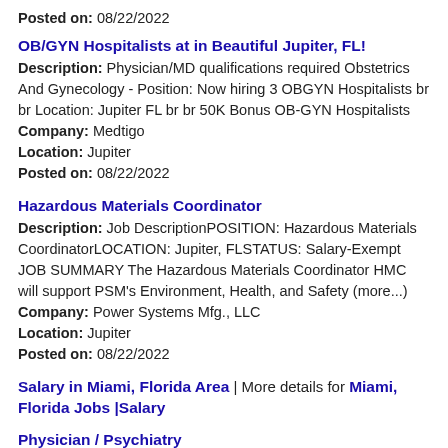Posted on: 08/22/2022
OB/GYN Hospitalists at in Beautiful Jupiter, FL!
Description: Physician/MD qualifications required Obstetrics And Gynecology - Position: Now hiring 3 OBGYN Hospitalists br br Location: Jupiter FL br br 50K Bonus OB-GYN Hospitalists
Company: Medtigo
Location: Jupiter
Posted on: 08/22/2022
Hazardous Materials Coordinator
Description: Job DescriptionPOSITION: Hazardous Materials CoordinatorLOCATION: Jupiter, FLSTATUS: Salary-Exempt JOB SUMMARY The Hazardous Materials Coordinator HMC will support PSM's Environment, Health, and Safety (more...)
Company: Power Systems Mfg., LLC
Location: Jupiter
Posted on: 08/22/2022
Salary in Miami, Florida Area | More details for Miami, Florida Jobs |Salary
Physician / Psychiatry
Description: SOUTHEAST PART OF THE STATE LOOKING